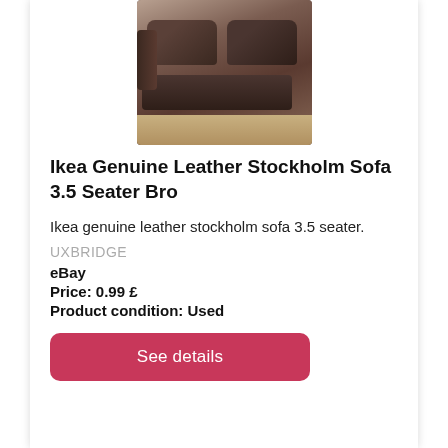[Figure (photo): Photo of a dark leather sofa (Ikea Stockholm 3.5 seater) taken from above-side angle, showing cushions and armrest in a room setting.]
Ikea Genuine Leather Stockholm Sofa 3.5 Seater Bro
Ikea genuine leather stockholm sofa 3.5 seater.
UXBRIDGE
eBay
Price: 0.99 £
Product condition: Used
See details